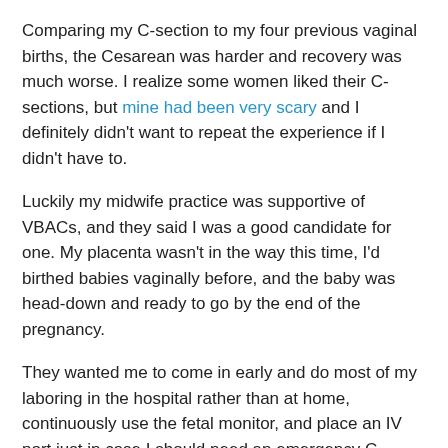Comparing my C-section to my four previous vaginal births, the Cesarean was harder and recovery was much worse. I realize some women liked their C-sections, but mine had been very scary and I definitely didn't want to repeat the experience if I didn't have to.
Luckily my midwife practice was supportive of VBACs, and they said I was a good candidate for one. My placenta wasn't in the way this time, I'd birthed babies vaginally before, and the baby was head-down and ready to go by the end of the pregnancy.
They wanted me to come in early and do most of my laboring in the hospital rather than at home, continuously use the fetal monitor, and place an IV port just in case I should need an emergency C-section. But everything looked promising for a VBAC.
Why I Didn't Want an Epidural
I have nothing against using pain meds in labor. In fact, with the births before my cesarean, I had both...